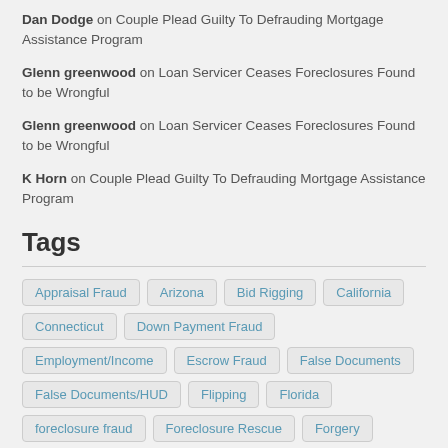Dan Dodge on Couple Plead Guilty To Defrauding Mortgage Assistance Program
Glenn greenwood on Loan Servicer Ceases Foreclosures Found to be Wrongful
Glenn greenwood on Loan Servicer Ceases Foreclosures Found to be Wrongful
K Horn on Couple Plead Guilty To Defrauding Mortgage Assistance Program
Tags
Appraisal Fraud, Arizona, Bid Rigging, California, Connecticut, Down Payment Fraud, Employment/Income, Escrow Fraud, False Documents, False Documents/HUD, Flipping, Florida, foreclosure fraud, Foreclosure Rescue, Forgery, Georgia, Identity Theft, Illinois, Income/Asset